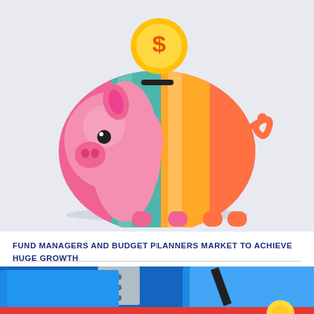[Figure (illustration): Colorful cartoon piggy bank with pink head/ears, teal and orange striped body, orange curly tail, with a gold dollar coin falling into the slot on top. Set against a light gray-blue background.]
FUND MANAGERS AND BUDGET PLANNERS MARKET TO ACHIEVE HUGE GROWTH
[Figure (photo): Close-up photo of blue and metallic financial/office supplies — appears to show blue folders, a ruler or measuring device with dots, and black pen nibs against a blue background.]